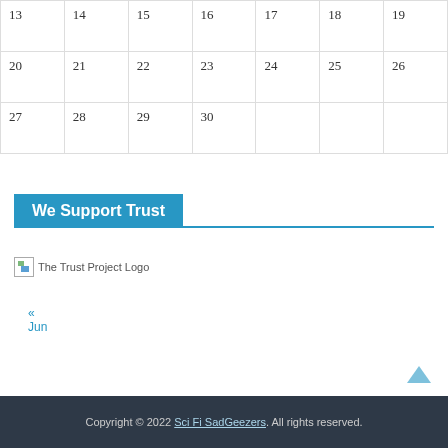| 13 | 14 | 15 | 16 | 17 | 18 | 19 |
| 20 | 21 | 22 | 23 | 24 | 25 | 26 |
| 27 | 28 | 29 | 30 |  |  |  |
« Jun
We Support Trust
[Figure (logo): The Trust Project Logo — broken image placeholder with text 'The Trust Project Logo']
The Trust Project
Copyright © 2022 Sci Fi SadGeezers. All rights reserved.